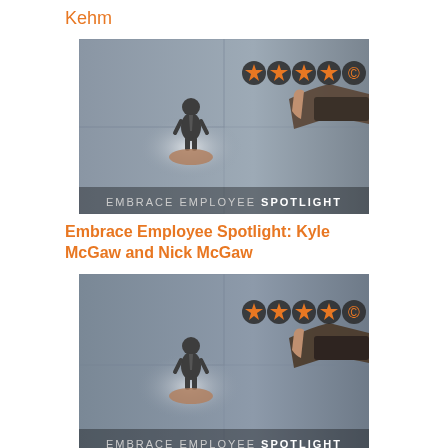Kehm
[Figure (photo): Embrace Employee Spotlight promotional image showing a businessman pointing at star rating icons while holding a small person icon in his other hand. Text overlay reads EMBRACE EMPLOYEE SPOTLIGHT.]
Embrace Employee Spotlight: Kyle McGaw and Nick McGaw
[Figure (photo): Second instance of Embrace Employee Spotlight promotional image showing a businessman pointing at star rating icons while holding a small person icon in his other hand. Text overlay reads EMBRACE EMPLOYEE SPOTLIGHT.]